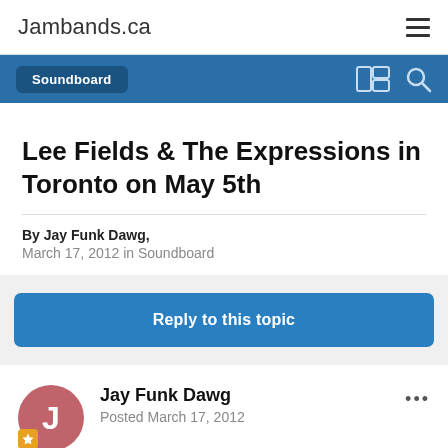Jambands.ca
Soundboard
Lee Fields & The Expressions in Toronto on May 5th
By Jay Funk Dawg,
March 17, 2012 in Soundboard
Reply to this topic
Jay Funk Dawg
Posted March 17, 2012